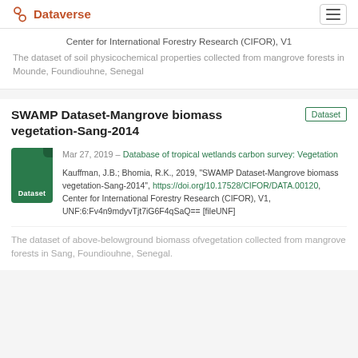Dataverse
Center for International Forestry Research (CIFOR), V1
The dataset of soil physicochemical properties collected from mangrove forests in Mounde, Foundiouhne, Senegal
SWAMP Dataset-Mangrove biomass vegetation-Sang-2014
Mar 27, 2019 – Database of tropical wetlands carbon survey: Vegetation
Kauffman, J.B.; Bhomia, R.K., 2019, "SWAMP Dataset-Mangrove biomass vegetation-Sang-2014", https://doi.org/10.17528/CIFOR/DATA.00120, Center for International Forestry Research (CIFOR), V1, UNF:6:Fv4n9mdyvTjt7iG6F4qSaQ== [fileUNF]
The dataset of above-belowground biomass ofvegetation collected from mangrove forests in Sang, Foundiouhne, Senegal.